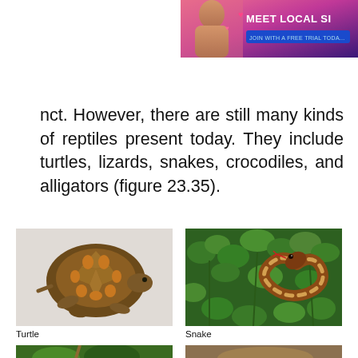[Figure (photo): Online dating advertisement banner with woman photo and text 'MEET LOCAL SI...' and 'JOIN WITH A FREE TRIAL TODA...']
nct. However, there are still many kinds of reptiles present today. They include turtles, lizards, snakes, crocodiles, and alligators (figure 23.35).
[Figure (photo): Photo of a turtle (box turtle) on white background]
Turtle
[Figure (photo): Photo of a snake coiled among green clover plants]
Snake
[Figure (photo): Photo partially visible at bottom left, appears to be a reptile in grass]
[Figure (photo): Photo partially visible at bottom right, appears to be a lizard on rocks]